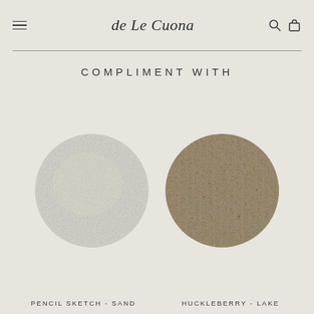de Le Cuona
COMPLIMENT WITH
[Figure (photo): Two circular fabric swatches side by side. Left swatch is a smooth light beige/cream leather-like material labeled 'PENCIL SKETCH - SAND'. Right swatch is a tweedy mixed-fiber fabric in warm taupe/brown with blue and rust flecks labeled 'HUCKLEBERRY - LAKE'.]
PENCIL SKETCH - SAND   HUCKLEBERRY - LAKE